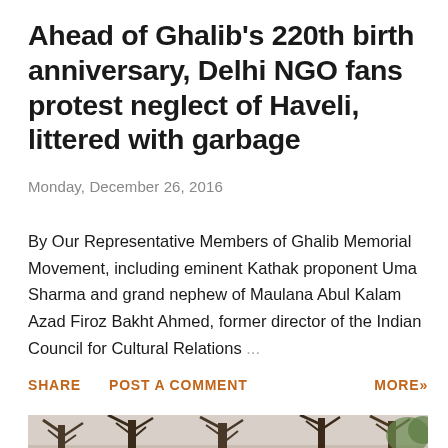Ahead of Ghalib's 220th birth anniversary, Delhi NGO fans protest neglect of Haveli, littered with garbage
Monday, December 26, 2016
By Our Representative Members of Ghalib Memorial Movement, including eminent Kathak proponent Uma Sharma and grand nephew of Maulana Abul Kalam Azad Firoz Bakht Ahmed, former director of the Indian Council for Cultural Relations …
SHARE   POST A COMMENT   MORE»
[Figure (photo): Outdoor photograph showing bare winter trees with branches against a light sky, taken in a park or garden setting]